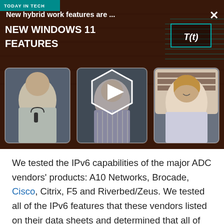[Figure (screenshot): Video thumbnail for 'New Windows 11 Features' Today in Tech episode, showing three video participants, a play button overlay, brick background, and T(t) logo. Overlay title reads 'New hybrid work features are ...']
We tested the IPv6 capabilities of the major ADC vendors' products: A10 Networks, Brocade, Cisco, Citrix, F5 and Riverbed/Zeus. We tested all of the IPv6 features that these vendors listed on their data sheets and determined that all of these systems are suitable for aiding in an Internet edge IPv6